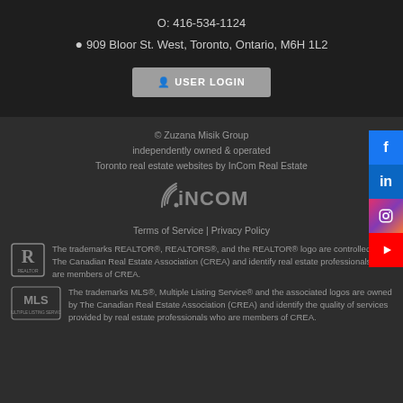O: 416-534-1124
909 Bloor St. West, Toronto, Ontario, M6H 1L2
USER LOGIN
© Zuzana Misik Group
independently owned & operated
Toronto real estate websites by InCom Real Estate
[Figure (logo): iNCOM logo with signal/wifi arc icon]
Terms of Service | Privacy Policy
[Figure (logo): REALTOR logo - R in a box with Canadian Real Estate Association mark]
The trademarks REALTOR®, REALTORS®, and the REALTOR® logo are controlled by The Canadian Real Estate Association (CREA) and identify real estate professionals who are members of CREA.
[Figure (logo): MLS Multiple Listing Service logo]
The trademarks MLS®, Multiple Listing Service® and the associated logos are owned by The Canadian Real Estate Association (CREA) and identify the quality of services provided by real estate professionals who are members of CREA.